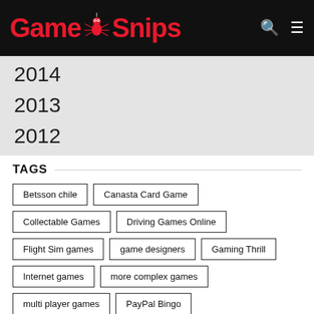GameSnips
2014
2013
2012
TAGS
Betsson chile
Canasta Card Game
Collectable Games
Driving Games Online
Flight Sim games
game designers
Gaming Thrill
Internet games
more complex games
multi player games
PayPal Bingo